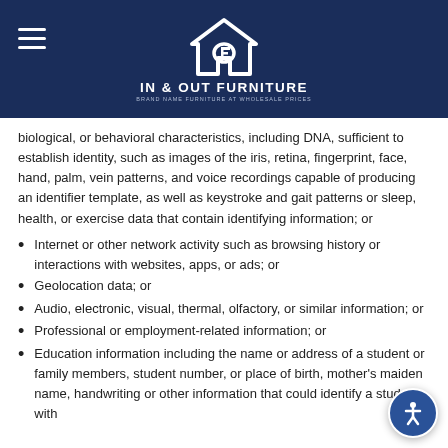[Figure (logo): In & Out Furniture logo with house icon, white on navy blue background. Tagline: Brand Name Furniture at Wholesale Prices]
biological, or behavioral characteristics, including DNA, sufficient to establish identity, such as images of the iris, retina, fingerprint, face, hand, palm, vein patterns, and voice recordings capable of producing an identifier template, as well as keystroke and gait patterns or sleep, health, or exercise data that contain identifying information; or
Internet or other network activity such as browsing history or interactions with websites, apps, or ads; or
Geolocation data; or
Audio, electronic, visual, thermal, olfactory, or similar information; or
Professional or employment-related information; or
Education information including the name or address of a student or family members, student number, or place of birth, mother's maiden name, handwriting or other information that could identify a student with